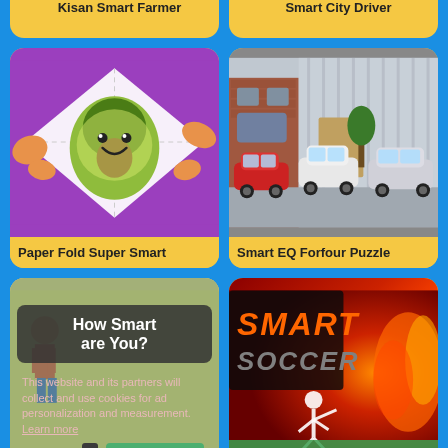[Figure (screenshot): Kisan Smart Farmer app card (partially visible at top)]
[Figure (screenshot): Smart City Driver app card (partially visible at top)]
[Figure (illustration): Paper Fold Super Smart app card with avocado cartoon on purple background]
Paper Fold Super Smart
[Figure (photo): Smart EQ Forfour Puzzle card with photo of three small Smart cars parked outside a building]
Smart EQ Forfour Puzzle
[Figure (screenshot): How Smart Are You app card with cookie consent overlay showing Decline and Allow cookies buttons]
How Smart Are You
[Figure (screenshot): Smart Soccer app card with fiery soccer game imagery and cookie overlay]
Smart Soccer